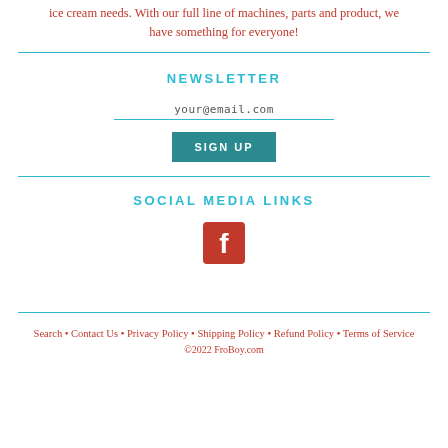ice cream needs. With our full line of machines, parts and product, we have something for everyone!
NEWSLETTER
your@email.com
SIGN UP
SOCIAL MEDIA LINKS
[Figure (logo): Facebook logo icon — red square with white 'f' letter]
Search • Contact Us • Privacy Policy • Shipping Policy • Refund Policy • Terms of Service
©2022 FroBoy.com